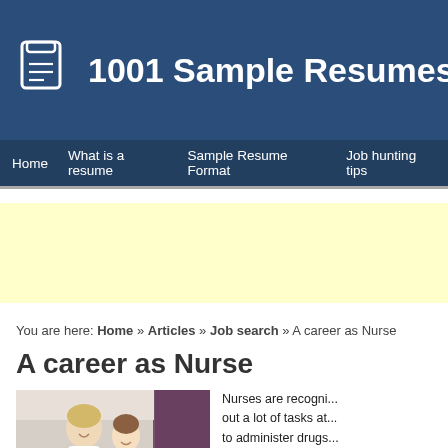1001 Sample Resumes
Home | What is a resume | Sample Resume Format | Job hunting tips
[Figure (other): Yellow advertisement banner placeholder]
You are here: Home » Articles » Job search » A career as Nurse
A career as Nurse
[Figure (photo): Photo of a nurse smiling with a patient in a hospital setting]
Nurses are recogni... out a lot of tasks at... to administer drugs... samples and a po...